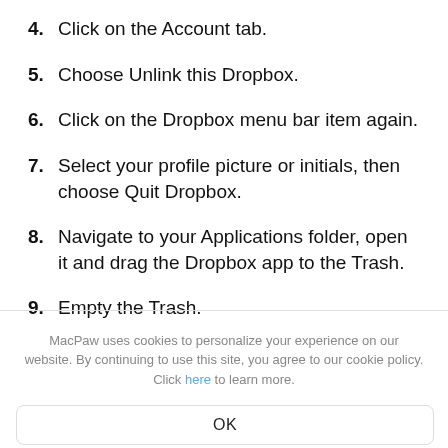4. Click on the Account tab.
5. Choose Unlink this Dropbox.
6. Click on the Dropbox menu bar item again.
7. Select your profile picture or initials, then choose Quit Dropbox.
8. Navigate to your Applications folder, open it and drag the Dropbox app to the Trash.
9. Empty the Trash.
MacPaw uses cookies to personalize your experience on our website. By continuing to use this site, you agree to our cookie policy. Click here to learn more.
OK